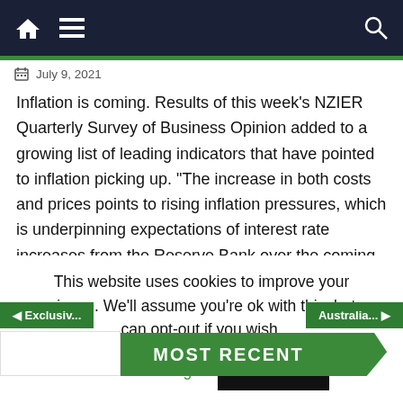July 9, 2021
Inflation is coming. Results of this week’s NZIER Quarterly Survey of Business Opinion added to a growing list of leading indicators that have pointed to inflation picking up. “The increase in both costs and prices points to rising inflation pressures, which is underpinning expectations of interest rate increases from the Reserve Bank over the coming [...]
MOST RECENT
◄ Exclusiv...
Australia... ►
This website uses cookies to improve your experience. We’ll assume you’re ok with this, but you can opt-out if you wish.
Cookie settings
ACCEPT